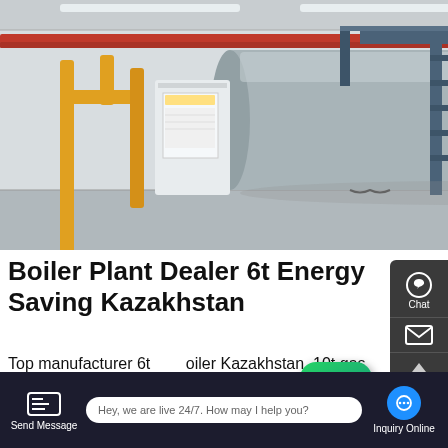[Figure (photo): Industrial boiler plant — a large horizontal cylindrical gray boiler vessel inside a facility, with yellow pipes on the left, blue scaffolding/ladder structure, a white control panel cabinet, and red pipes overhead. Concrete floor, industrial ceiling.]
Boiler Plant Dealer 6t Energy Saving Kazakhstan
Top manufacturer 6t boiler Kazakhstan. 10t gas fired Boiler B... Saving Supplier Kazakhstan 2t Diesel Fired Boiler Plant Tu...ista...
[Figure (other): WhatsApp green rounded-square icon overlay with 'Contact us now!' green speech bubble]
Send Message | Hey, we are live 24/7. How may I help you? | Inquiry Online